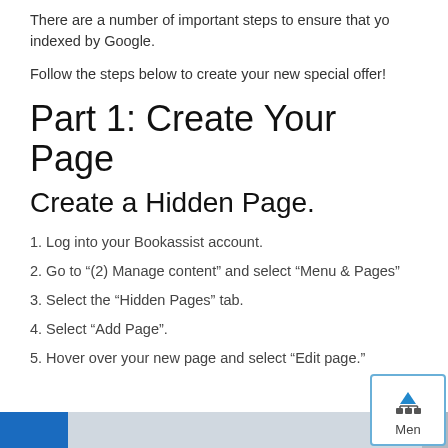There are a number of important steps to ensure that yo indexed by Google.
Follow the steps below to create your new special offer!
Part 1: Create Your Page
Create a Hidden Page.
1. Log into your Bookassist account.
2. Go to “(2) Manage content” and select “Menu & Pages”
3. Select the “Hidden Pages” tab.
4. Select “Add Page”.
5. Hover over your new page and select “Edit page.”
[Figure (screenshot): Bottom navigation bar with blue folder icon on left, light gray bar in center, dark gray section, and a Menu icon button (with organizational chart symbol and up arrow) on the right.]